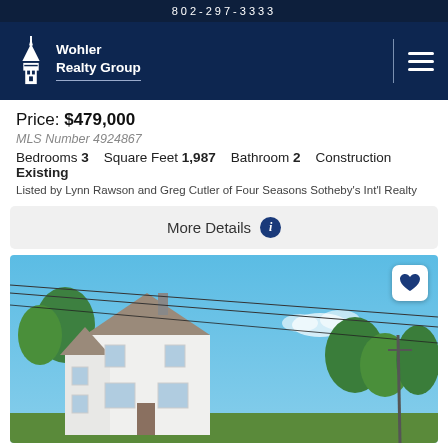802-297-3333
[Figure (logo): Wohler Realty Group logo with church/building icon in white on dark navy background]
Price: $479,000
MLS Number 4924867
Bedrooms 3   Square Feet 1,987   Bathroom 2   Construction Existing
Listed by Lynn Rawson and Greg Cutler of Four Seasons Sotheby's Int'l Realty
More Details
[Figure (photo): Exterior photo of a white two-story house with a gray roof, chimney, multiple windows, and a front door, surrounded by trees under a blue sky with utility lines visible]